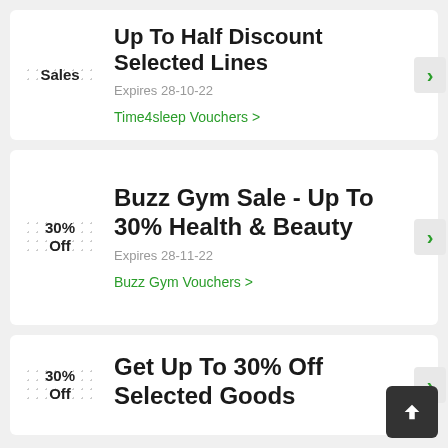Sales | Up To Half Discount Selected Lines | Expires 28-10-22 | Time4sleep Vouchers >
30% Off | Buzz Gym Sale - Up To 30% Health & Beauty | Expires 28-11-22 | Buzz Gym Vouchers >
30% Off | Get Up To 30% Off Selected Goods